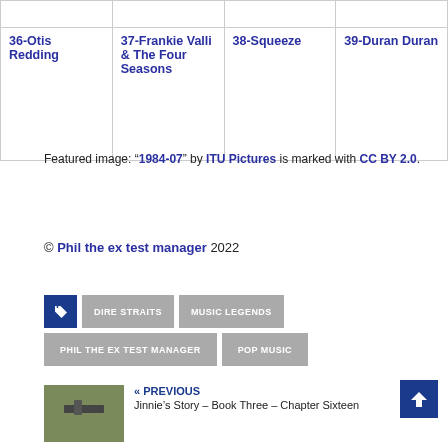|  |  |  |  |
| --- | --- | --- | --- |
| 36-Otis Redding | 37-Frankie Valli & The Four Seasons | 38-Squeeze | 39-Duran Duran |
Featured image: “1984-07” by ITU Pictures is marked with CC BY 2.0.
© Phil the ex test manager 2022
DIRE STRAITS  MUSIC LEGENDS  PHIL THE EX TEST MANAGER  POP MUSIC
« PREVIOUS
Jinnie’s Story – Book Three – Chapter Sixteen